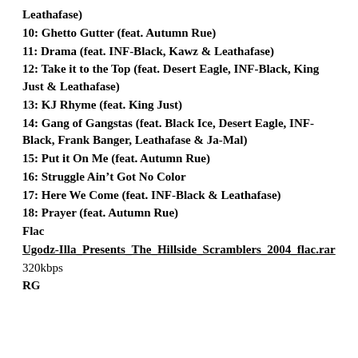Leathafase)
10: Ghetto Gutter (feat. Autumn Rue)
11: Drama (feat. INF-Black, Kawz & Leathafase)
12: Take it to the Top (feat. Desert Eagle, INF-Black, King Just & Leathafase)
13: KJ Rhyme (feat. King Just)
14: Gang of Gangstas (feat. Black Ice, Desert Eagle, INF-Black, Frank Banger, Leathafase & Ja-Mal)
15: Put it On Me (feat. Autumn Rue)
16: Struggle Ain’t Got No Color
17: Here We Come (feat. INF-Black & Leathafase)
18: Prayer (feat. Autumn Rue)
Flac
Ugodz-Illa_Presents_The_Hillside_Scramblers_2004_flac.rar
320kbps
RG